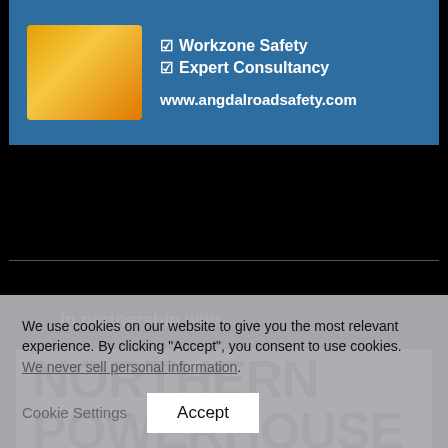[Figure (advertisement): Blue banner advertisement for angdalroadsafety.com with an orange/yellow warning light image on the left and text listing Workzone Safety and Expert Consultancy with a checkbox, and the website URL www.angdalroadsafety.com]
In partnership with
[Figure (logo): Northern Powerhouse logo: large bold black text on white background with black border reading NORTHERN POWERHOUSE]
We use cookies on our website to give you the most relevant experience. By clicking “Accept”, you consent to use cookies. We never sell personal information.
Cookie Settings
Accept